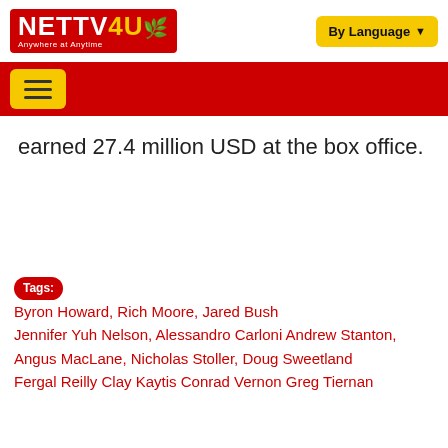NETTV4U — Anywhere at Anytime | By Language
earned 27.4 million USD at the box office.
Tags: Byron Howard, Rich Moore, Jared Bush Jennifer Yuh Nelson, Alessandro Carloni Andrew Stanton, Angus MacLane, Nicholas Stoller, Doug Sweetland Fergal Reilly Clay Kaytis Conrad Vernon Greg Tiernan